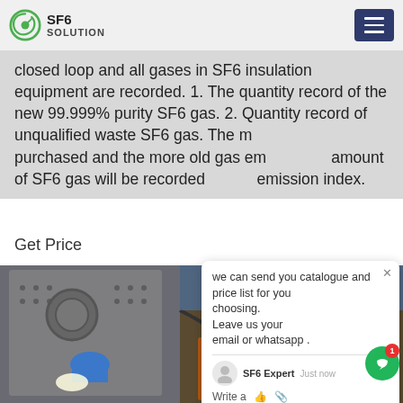SF6 SOLUTION
closed loop and all gases in SF6 insulation equipment are recorded. 1. The quantity record of the new 99.999% purity SF6 gas. 2. Quantity record of unqualified waste SF6 gas. The more new gas purchased and the more old gas emitted, the amount of SF6 gas will be recorded as the emission index.
Get Price
[Figure (photo): Worker in blue hard hat operating SF6 gas equipment with industrial machinery, pipes, and fittings visible]
we can send you catalogue and price list for you choosing. Leave us your email or whatsapp .